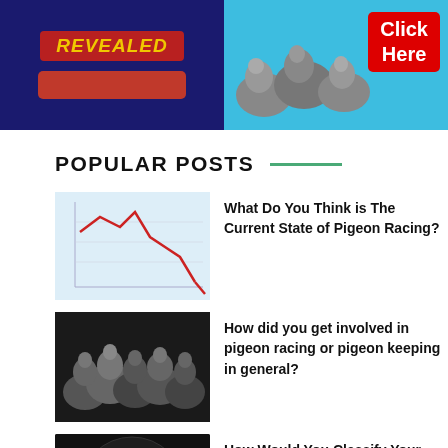[Figure (illustration): Two advertising banners side by side. Left: dark blue background with 'REVEALED' text in yellow on red, and a red button below. Right: light blue background with pigeons and a red 'Click Here' button.]
POPULAR POSTS
[Figure (illustration): Thumbnail image of a chart with red zigzag line going down on blue/white graph background.]
What Do You Think is The Current State of Pigeon Racing?
[Figure (photo): Black and white photo of a crowd of pigeons.]
How did you get involved in pigeon racing or pigeon keeping in general?
[Figure (illustration): Dark circular image with question marks arranged around a central circle.]
How Would You Classify Your Knowledge of Pigeons?
[Figure (illustration): Thumbnail of an upward trend chart.]
What Can Fanciers Do To Help The Pigeon Racing Sport Grow?